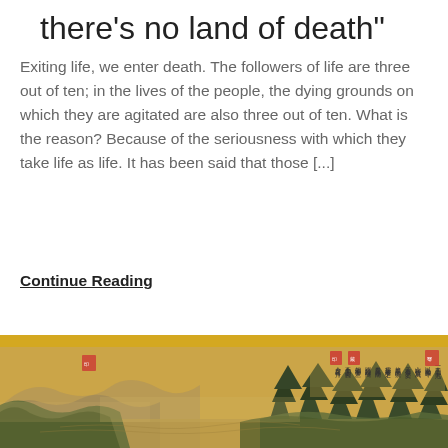there's no land of death
Exiting life, we enter death. The followers of life are three out of ten; in the lives of the people, the dying grounds on which they are agitated are also three out of ten. What is the reason? Because of the seriousness with which they take life as life. It has been said that those [...]
Continue Reading
[Figure (illustration): A traditional Chinese landscape painting on yellowish parchment showing mountains, trees (pine/bamboo), water, and Chinese calligraphic text with red seal stamps in the upper portion. The painting has an aged golden-yellow tone typical of ancient Chinese scroll paintings.]